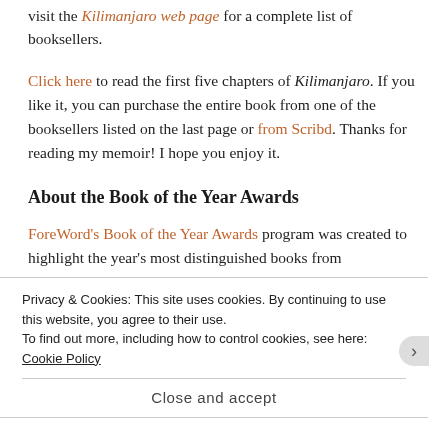visit the Kilimanjaro web page for a complete list of booksellers.
Click here to read the first five chapters of Kilimanjaro. If you like it, you can purchase the entire book from one of the booksellers listed on the last page or from Scribd. Thanks for reading my memoir! I hope you enjoy it.
About the Book of the Year Awards
ForeWord's Book of the Year Awards program was created to highlight the year's most distinguished books from independent publishers. The awards announcement provides an additional publicity
Privacy & Cookies: This site uses cookies. By continuing to use this website, you agree to their use.
To find out more, including how to control cookies, see here: Cookie Policy
Close and accept